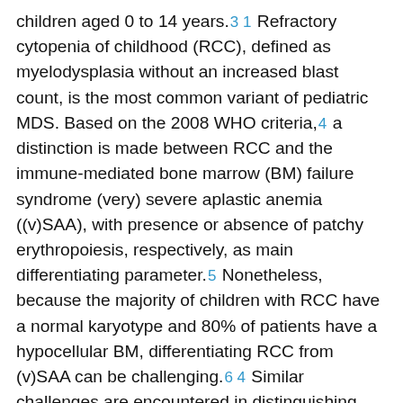children aged 0 to 14 years.[31] Refractory cytopenia of childhood (RCC), defined as myelodysplasia without an increased blast count, is the most common variant of pediatric MDS. Based on the 2008 WHO criteria,[4] a distinction is made between RCC and the immune-mediated bone marrow (BM) failure syndrome (very) severe aplastic anemia ((v)SAA), with presence or absence of patchy erythropoiesis, respectively, as main differentiating parameter.[5] Nonetheless, because the majority of children with RCC have a normal karyotype and 80% of patients have a hypocellular BM, differentiating RCC from (v)SAA can be challenging.[6 4] Similar challenges are encountered in distinguishing (v)SAA and other non-clonal cytopenias from low-grade MDS in adults, especially in cases without specific morphological or cytogenetic aberrations. Flow cytometric immunophenotyping is a valuable